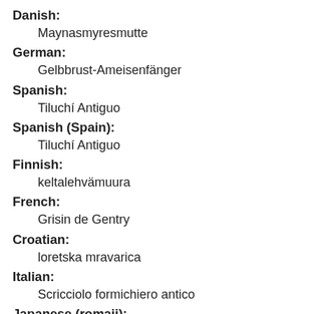Danish: Maynasmyresmutte
German: Gelbbrust-Ameisenfänger
Spanish: Tiluchí Antiguo
Spanish (Spain): Tiluchí Antiguo
Finnish: keltalehvämuura
French: Grisin de Gentry
Croatian: loretska mravarica
Italian: Scricciolo formichiero antico
Japanese (romaji): kodaimayuarisazai
Japanese: